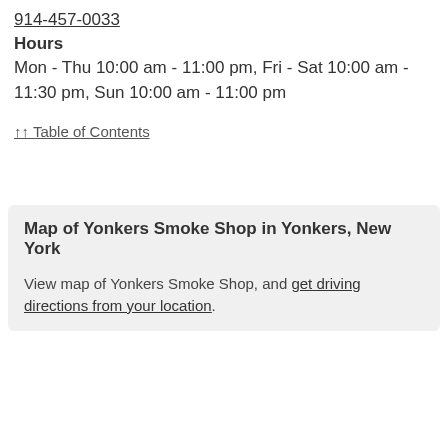914-457-0033
Hours
Mon - Thu 10:00 am - 11:00 pm, Fri - Sat 10:00 am - 11:30 pm, Sun 10:00 am - 11:00 pm
↑↑ Table of Contents
Map of Yonkers Smoke Shop in Yonkers, New York
View map of Yonkers Smoke Shop, and get driving directions from your location.